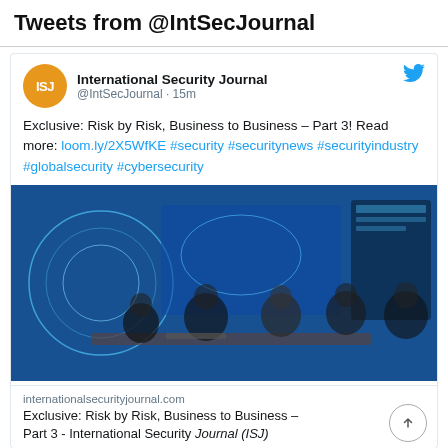Tweets from @IntSecJournal
International Security Journal @IntSecJournal · 15m
Exclusive: Risk by Risk, Business to Business – Part 3! Read more: loom.ly/2X5WfKE #security #securitynews #securityindustry #globalsecurity #cybersecurity
[Figure (photo): People sitting around a conference table with large digital screens showing security dashboards in blue tones]
internationalsecurityjournal.com
Exclusive: Risk by Risk, Business to Business – Part 3 - International Security Journal (ISJ)